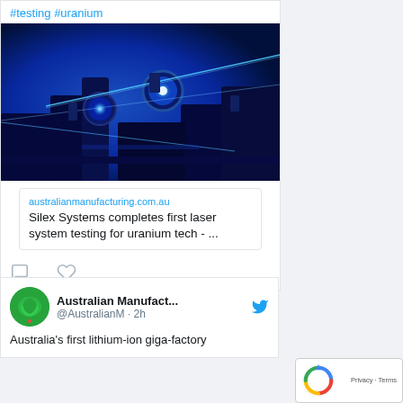#testing #uranium
[Figure (photo): Laser optics equipment with blue laser beams on a scientific optical bench, dark blue lighting]
australianmanufacturing.com.au
Silex Systems completes first laser system testing for uranium tech - ...
[Figure (other): Comment and like icons]
Australian Manufact... @AustralianM · 2h
Australia's first lithium-ion giga-factory